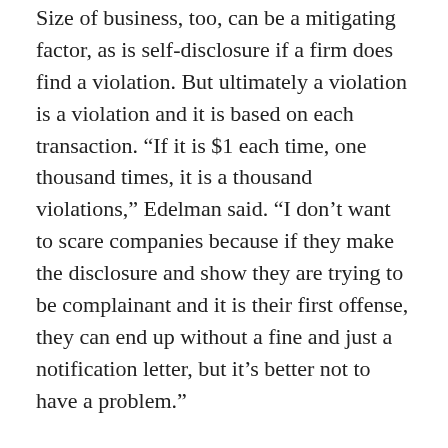Size of business, too, can be a mitigating factor, as is self-disclosure if a firm does find a violation. But ultimately a violation is a violation and it is based on each transaction. “If it is $1 each time, one thousand times, it is a thousand violations,” Edelman said. “I don’t want to scare companies because if they make the disclosure and show they are trying to be complainant and it is their first offense, they can end up without a fine and just a notification letter, but it’s better not to have a problem.”
For any firms doing business abroad, in Europe for example, it is a good idea to do a deep dive of business relationship lists against sanctions lists, Sherman said.
“If you’ve got software under development and you’re shipping monthly and making wire transfers to Eastern bloc countries or one of the former members of the USSR, you might want to at least ask questions,” said Sherman.